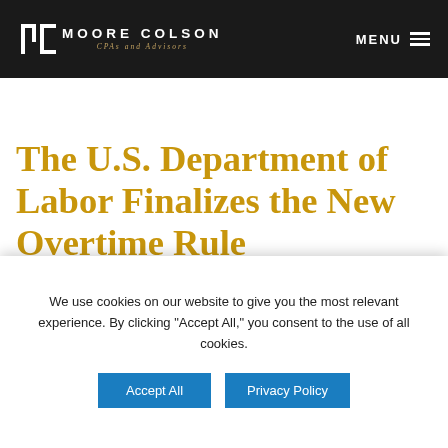MOORE COLSON — CPAs and Advisors — MENU
The U.S. Department of Labor Finalizes the New Overtime Rule
We use cookies on our website to give you the most relevant experience. By clicking “Accept All,” you consent to the use of all cookies.
Accept All | Privacy Policy